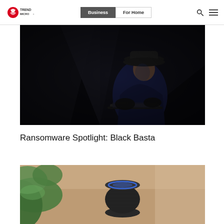Trend Micro | Business | For Home
[Figure (photo): Dark atmospheric photo of a person in a suit and wide-brimmed hat sitting at a laptop in darkness, suggesting a hacker or cybercriminal scene]
Ransomware Spotlight: Black Basta
[Figure (photo): Partial photo showing green plant leaves and what appears to be a smart speaker device on a wooden surface]